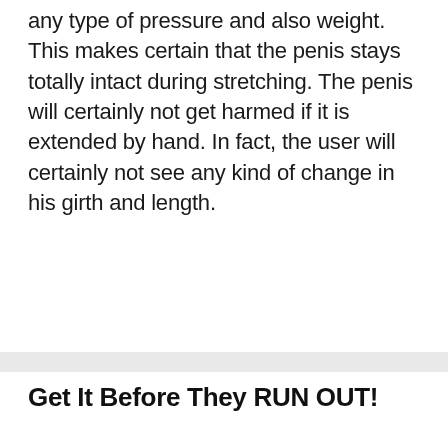any type of pressure and also weight. This makes certain that the penis stays totally intact during stretching. The penis will certainly not get harmed if it is extended by hand. In fact, the user will certainly not see any kind of change in his girth and length.
Get It Before They RUN OUT!
[Figure (photo): A large red downward-pointing arrow above two product images of a blue penile extender device — one showing a product box with text and a QR code, the other showing the device on a dark background.]